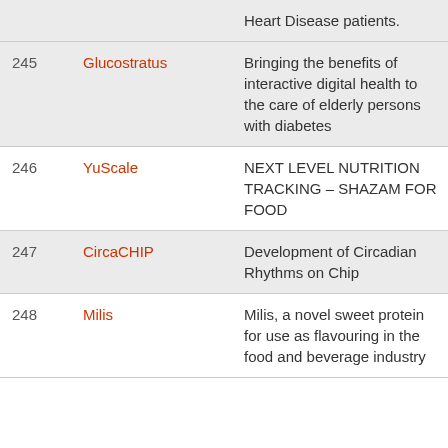| # | Name | Description |
| --- | --- | --- |
|  |  | Heart Disease patients. |
| 245 | Glucostratus | Bringing the benefits of interactive digital health to the care of elderly persons with diabetes |
| 246 | YuScale | NEXT LEVEL NUTRITION TRACKING – SHAZAM FOR FOOD |
| 247 | CircaCHIP | Development of Circadian Rhythms on Chip |
| 248 | Milis | Milis, a novel sweet protein for use as flavouring in the food and beverage industry |